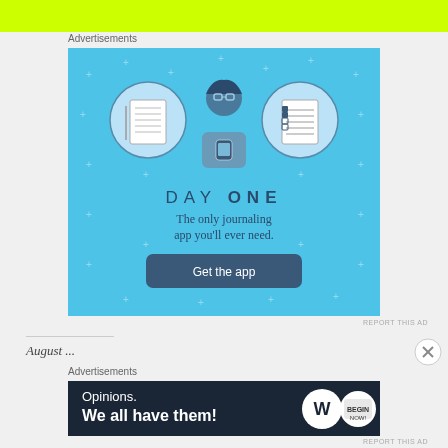[Figure (other): Yellow/lime green header bar at top of page]
Advertisements
[Figure (illustration): Day One journaling app advertisement on blue background. Shows icons of a notebook, a person using phone, and a checklist. Text reads: DAY ONE, The only journaling app you'll ever need. Button: Get the app]
REPORT THIS AD
Advertisements
[Figure (illustration): WordPress advertisement on dark navy background. Text: Opinions. We all have them! with WordPress logo and additional badge logo on right.]
REPORT THIS AD